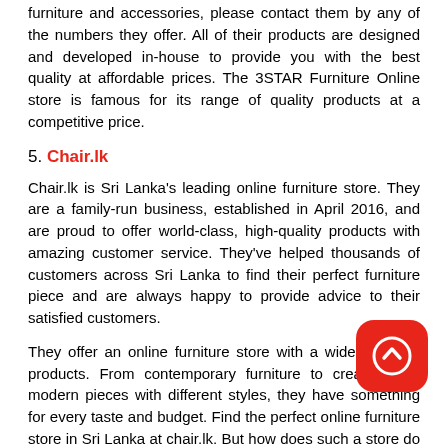furniture and accessories, please contact them by any of the numbers they offer. All of their products are designed and developed in-house to provide you with the best quality at affordable prices. The 3STAR Furniture Online store is famous for its range of quality products at a competitive price.
5. Chair.lk
Chair.lk is Sri Lanka's leading online furniture store. They are a family-run business, established in April 2016, and are proud to offer world-class, high-quality products with amazing customer service. They've helped thousands of customers across Sri Lanka to find their perfect furniture piece and are always happy to provide advice to their satisfied customers.
They offer an online furniture store with a wide range of products. From contemporary furniture to creative and modern pieces with different styles, they have something for every taste and budget. Find the perfect online furniture store in Sri Lanka at chair.lk. But how does such a store do it? Through hard work and determination.
6. Putu.lk
Putu.lk is a furniture store from Sri Lanka which is run by a group of professionals. Local furniture professionals are educated, experienced and skilled. As a result, Putu.lk presents the best quality products and can offer excellent customer service to the customers. Putu.lk offers a wide range of products for home and furniture. Home furniture, restaurant furniture, garden furniture, beach furniture, bed & dining sets, coffee table & end tables, kitchen & dining furniture, TV stand & coffee